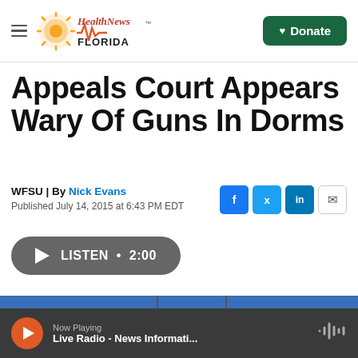Health News Florida — Donate
Appeals Court Appears Wary Of Guns In Dorms
WFSU | By Nick Evans
Published July 14, 2015 at 6:43 PM EDT
[Figure (infographic): Social sharing buttons: Facebook, Twitter, LinkedIn, Email]
[Figure (infographic): Audio player play button with LISTEN • 2:00]
[Figure (photo): Blue sky with flags, partial view of building]
[Figure (infographic): Bottom audio player bar: Now Playing — Live Radio - News Informati...]